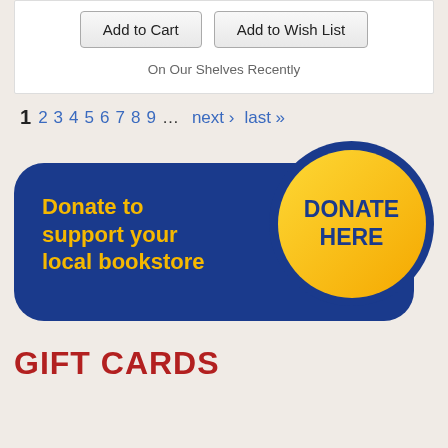Add to Cart | Add to Wish List
On Our Shelves Recently
1 2 3 4 5 6 7 8 9 ... next › last »
[Figure (infographic): Donate to support your local bookstore — blue rounded rectangle banner with yellow text and a yellow circle button labeled DONATE HERE]
GIFT CARDS